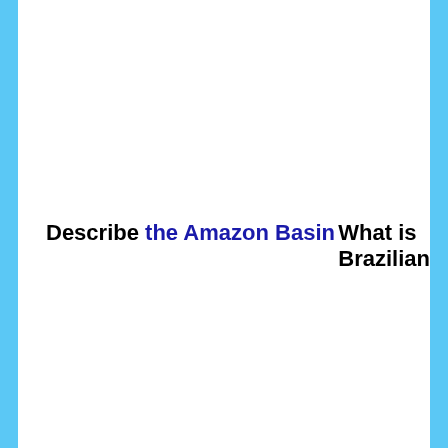Describe the Amazon Basin
What is Brazilian